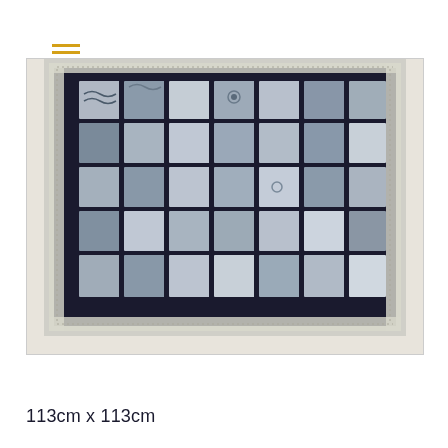[Figure (photo): Hamburger menu icon with two horizontal golden/amber colored lines]
[Figure (photo): A black and white patchwork quilt with grid overlay design, displayed on a light background. The quilt features various patterned fabric squares with geometric and organic designs, framed by a dark navy border and a white patterned binding.]
113cm x 113cm